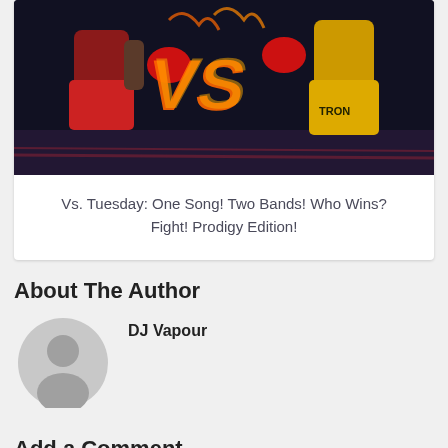[Figure (photo): Two boxers in a ring mid-fight, one in red and one in yellow shorts with 'TRON' visible, with a large orange 'VS' graphic overlay]
Vs. Tuesday: One Song! Two Bands! Who Wins? Fight! Prodigy Edition!
About The Author
[Figure (illustration): Generic gray user avatar/silhouette placeholder image]
DJ Vapour
Add a Comment